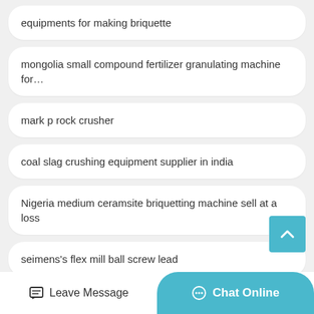equipments for making briquette
mongolia small compound fertilizer granulating machine for…
mark p rock crusher
coal slag crushing equipment supplier in india
Nigeria medium ceramsite briquetting machine sell at a loss
seimens's flex mill ball screw lead
chapterwise objective type questions in concrete technology
Leave Message
Chat Online